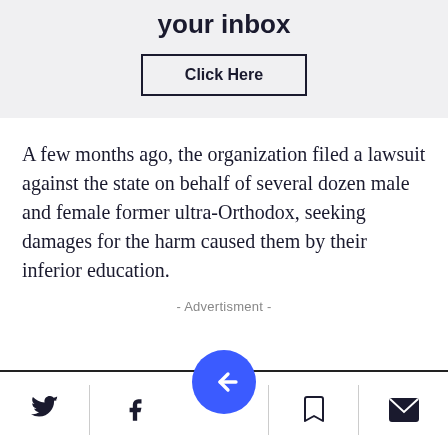your inbox
Click Here
A few months ago, the organization filed a lawsuit against the state on behalf of several dozen male and female former ultra-Orthodox, seeking damages for the harm caused them by their inferior education.
- Advertisment -
Footer navigation bar with Twitter, Facebook, bookmark, and mail icons, and a central blue navigation button.